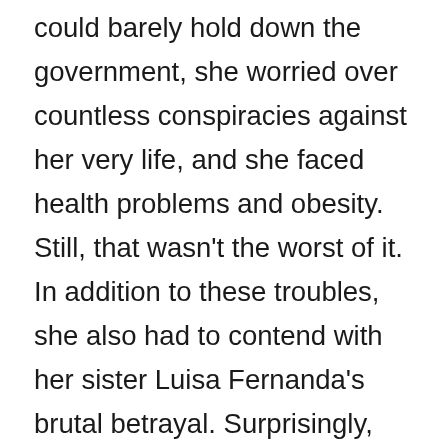could barely hold down the government, she worried over countless conspiracies against her very life, and she faced health problems and obesity. Still, that wasn't the worst of it. In addition to these troubles, she also had to contend with her sister Luisa Fernanda's brutal betrayal. Surprisingly, Luisa wasn't trying to get the throne for herself.

In fact, Isabella's sneaky sibling had someone else in mind for the Spanish th...